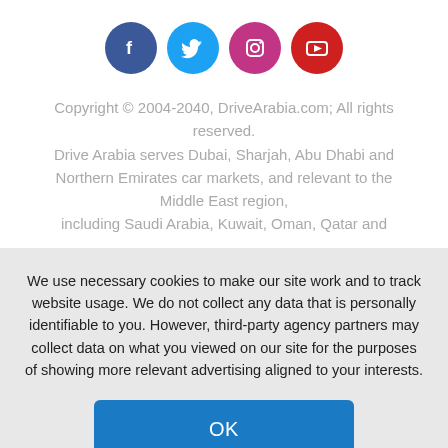[Figure (other): Four social media icons in circles: Facebook (dark blue), Twitter (light blue), Instagram (pink/magenta), YouTube (red)]
Copyright © 2004-2040, DriveArabia.com; All rights reserved.
Drive Arabia serves Dubai, Sharjah, Abu Dhabi and Northern Emirates car markets, and relevant to the Middle East region,
including Saudi Arabia, Kuwait, Oman, Qatar and
We use necessary cookies to make our site work and to track website usage. We do not collect any data that is personally identifiable to you. However, third-party agency partners may collect data on what you viewed on our site for the purposes of showing more relevant advertising aligned to your interests.
OK